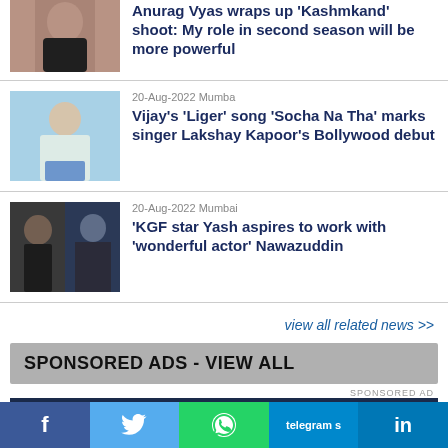[Figure (photo): Partial news item photo - person in dark top, partially visible at top]
Anurag Vyas wraps up 'Kashmkand' shoot: My role in second season will be more powerful
[Figure (photo): Person in white shirt sitting, 20-Aug-2022 Mumbai news]
20-Aug-2022 Mumba
Vijay's 'Liger' song 'Socha Na Tha' marks singer Lakshay Kapoor's Bollywood debut
[Figure (photo): Two people photos side by side, 20-Aug-2022 Mumbai news]
20-Aug-2022 Mumbai
'KGF star Yash aspires to work with 'wonderful actor' Nawazuddin
view all related news >>
SPONSORED ADS - VIEW ALL
SPONSORED AD
[Figure (photo): Humble Motion Pictures ad banner - dark blue background]
f
Twitter icon
WhatsApp icon
telegram s
in